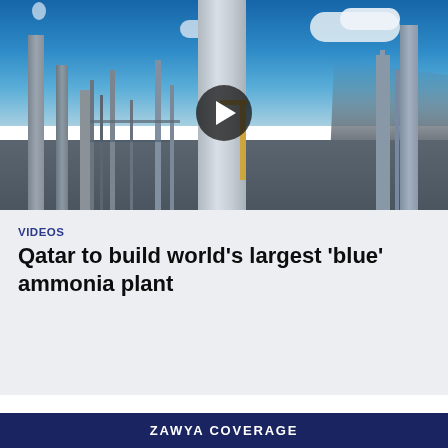[Figure (photo): Industrial chemical plant with tall chimneys and scaffolding against a blue sky with clouds. A video play button is overlaid in the center.]
VIDEOS
Qatar to build world's largest 'blue' ammonia plant
ZAWYA COVERAGE